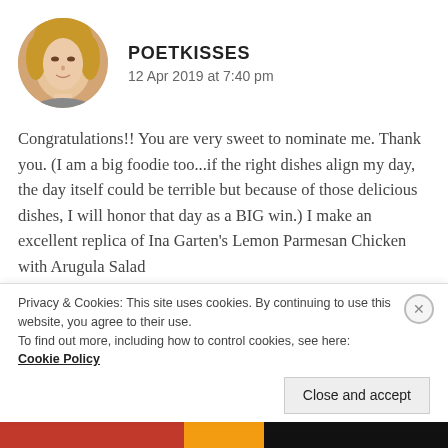[Figure (photo): Circular avatar photo of a woman with blonde hair]
POETKISSES
12 Apr 2019 at 7:40 pm
Congratulations!! You are very sweet to nominate me. Thank you. (I am a big foodie too...if the right dishes align my day, the day itself could be terrible but because of those delicious dishes, I will honor that day as a BIG win.) I make an excellent replica of Ina Garten's Lemon Parmesan Chicken with Arugula Salad
https://www.foodnetwork.com/recipes/ina-
Privacy & Cookies: This site uses cookies. By continuing to use this website, you agree to their use.
To find out more, including how to control cookies, see here: Cookie Policy
Close and accept